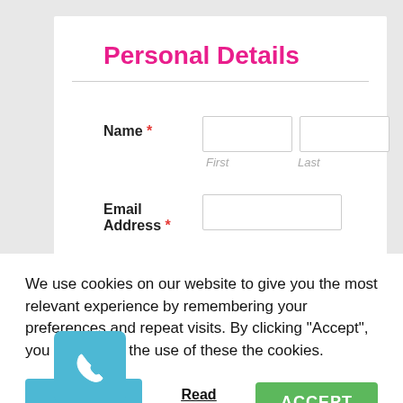Personal Details
Name * First Last
Email Address *
We use cookies on our website to give you the most relevant experience by remembering your preferences and repeat visits. By clicking “Accept”, you consent to the use of these the cookies.
Cookie settings
Read More
ACCEPT